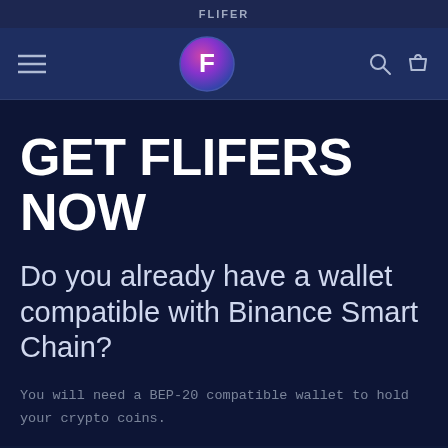FLIFER
[Figure (logo): Flifer logo: circular gradient button with letter F, hamburger menu icon on left, search and bag icons on right in navy navigation bar]
GET FLIFERS NOW
Do you already have a wallet compatible with Binance Smart Chain?
You will need a BEP-20 compatible wallet to hold your crypto coins.